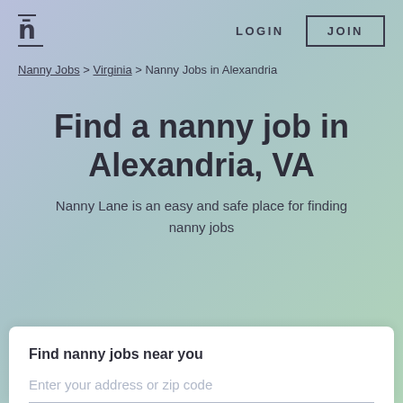n  LOGIN  JOIN
Nanny Jobs > Virginia > Nanny Jobs in Alexandria
Find a nanny job in Alexandria, VA
Nanny Lane is an easy and safe place for finding nanny jobs
Find nanny jobs near you
Enter your address or zip code